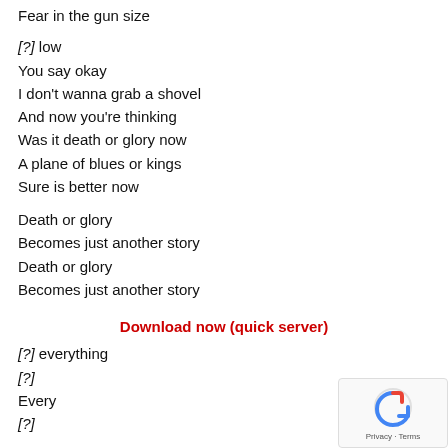Fear in the gun size
[?] low
You say okay
I don't wanna grab a shovel
And now you're thinking
Was it death or glory now
A plane of blues or kings
Sure is better now
Death or glory
Becomes just another story
Death or glory
Becomes just another story
Download now (quick server)
[?] everything
[?]
Every
[?]